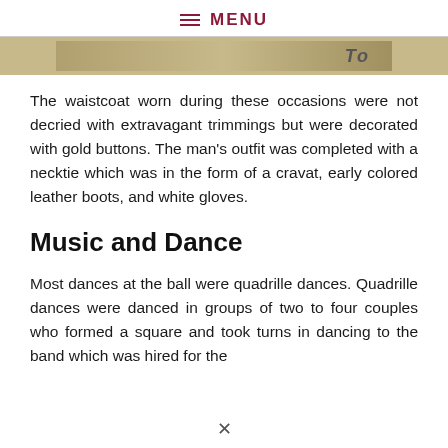≡ MENU
[Figure (photo): Partial image strip showing a historical scene, cropped at top of page]
The waistcoat worn during these occasions were not decried with extravagant trimmings but were decorated with gold buttons. The man's outfit was completed with a necktie which was in the form of a cravat, early colored leather boots, and white gloves.
Music and Dance
Most dances at the ball were quadrille dances. Quadrille dances were danced in groups of two to four couples who formed a square and took turns in dancing to the band which was hired for the